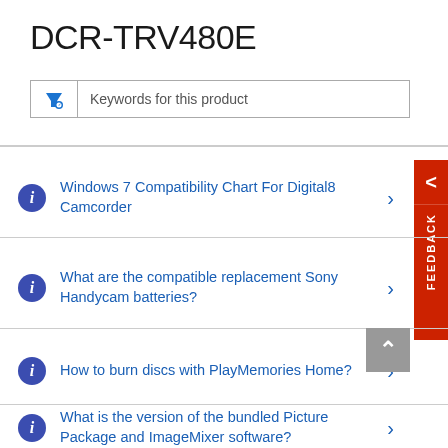DCR-TRV480E
[Figure (screenshot): Search/filter input box with funnel icon and placeholder text 'Keywords for this product']
Windows 7 Compatibility Chart For Digital8 Camcorder
What are the compatible replacement Sony Handycam batteries?
How to burn discs with PlayMemories Home?
What is the version of the bundled Picture Package and ImageMixer software?